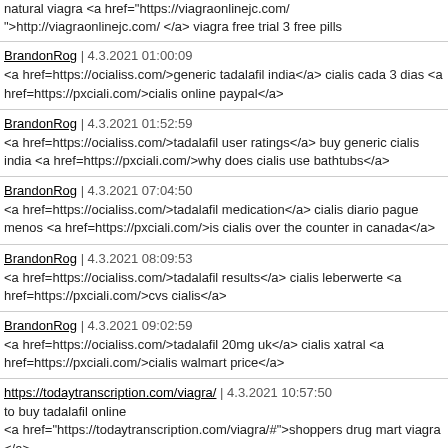natural viagra <a href="https://viagraonlinejc.com/ ">http://viagraonlinejc.com/ </a> viagra free trial 3 free pills
BrandonRog | 4.3.2021 01:00:09
<a href=https://ocialiss.com/>generic tadalafil india</a> cialis cada 3 dias <a href=https://pxciali.com/>cialis online paypal</a>
BrandonRog | 4.3.2021 01:52:59
<a href=https://ocialiss.com/>tadalafil user ratings</a> buy generic cialis india <a href=https://pxciali.com/>why does cialis use bathtubs</a>
BrandonRog | 4.3.2021 07:04:50
<a href=https://ocialiss.com/>tadalafil medication</a> cialis diario pague menos <a href=https://pxciali.com/>is cialis over the counter in canada</a>
BrandonRog | 4.3.2021 08:09:53
<a href=https://ocialiss.com/>tadalafil results</a> cialis leberwerte <a href=https://pxciali.com/>cvs cialis</a>
BrandonRog | 4.3.2021 09:02:59
<a href=https://ocialiss.com/>tadalafil 20mg uk</a> cialis xatral <a href=https://pxciali.com/>cialis walmart price</a>
https://todaytranscription.com/viagra/ | 4.3.2021 10:57:50
to buy tadalafil online
<a href="https://todaytranscription.com/viagra/#">shoppers drug mart viagra </a>
tadalafil 10mg india kerge rearm
BrandonRog | 4.3.2021 11:49:15